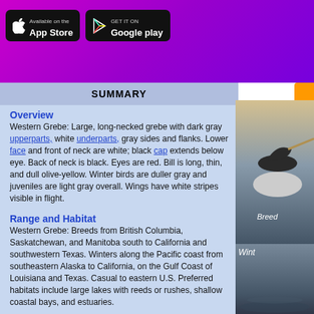[Figure (screenshot): App Store and Google Play download buttons on purple/magenta gradient banner]
SUMMARY
Overview
Western Grebe: Large, long-necked grebe with dark gray upperparts, white underparts, gray sides and flanks. Lower face and front of neck are white; black cap extends below eye. Back of neck is black. Eyes are red. Bill is long, thin, and dull olive-yellow. Winter birds are duller gray and juveniles are light gray overall. Wings have white stripes visible in flight.
Range and Habitat
Western Grebe: Breeds from British Columbia, Saskatchewan, and Manitoba south to California and southwestern Texas. Winters along the Pacific coast from southeastern Alaska to California, on the Gulf Coast of Louisiana and Texas. Casual to eastern U.S. Preferred habitats include large lakes with reeds or rushes, shallow coastal bays, and estuaries.
WESTERN GREBE SONGS AND CALLS
Western Grebe A2
[Figure (photo): Bird photo showing Western Grebe, breeding plumage, right side panel]
[Figure (photo): Bird photo showing Western Grebe, winter plumage, right side panel bottom]